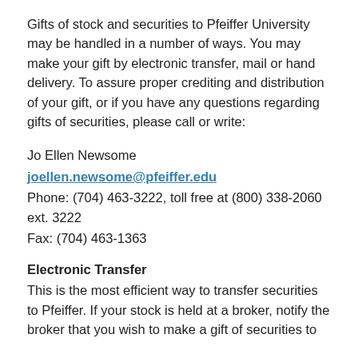Gifts of stock and securities to Pfeiffer University may be handled in a number of ways. You may make your gift by electronic transfer, mail or hand delivery. To assure proper crediting and distribution of your gift, or if you have any questions regarding gifts of securities, please call or write:
Jo Ellen Newsome
joellen.newsome@pfeiffer.edu
Phone: (704) 463-3222, toll free at (800) 338-2060 ext. 3222
Fax: (704) 463-1363
Electronic Transfer
This is the most efficient way to transfer securities to Pfeiffer. If your stock is held at a broker, notify the broker that you wish to make a gift of securities to